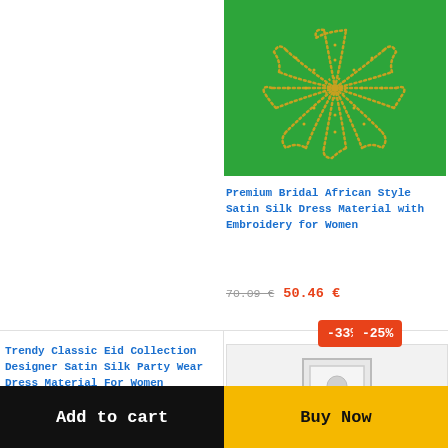[Figure (photo): Green satin fabric with gold embroidery floral pattern, cropped top of product image]
Premium Bridal African Style Satin Silk Dress Material with Embroidery for Women
70.09 € 50.46 €
[Figure (other): -33% discount badge (orange)]
Trendy Classic Eid Collection Designer Satin Silk Party Wear Dress Material For Women
57.71 € 39.23 €
[Figure (other): -25% discount badge (orange)]
[Figure (photo): Placeholder image for second bottom product]
Add to cart
Buy Now